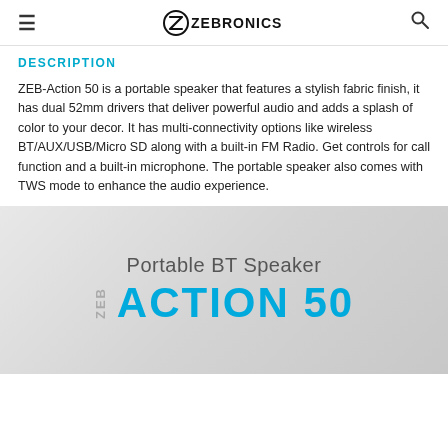≡  ZEBRONICS  🔍
DESCRIPTION
ZEB-Action 50 is a portable speaker that features a stylish fabric finish, it has dual 52mm drivers that deliver powerful audio and adds a splash of color to your decor. It has multi-connectivity options like wireless BT/AUX/USB/Micro SD along with a built-in FM Radio. Get controls for call function and a built-in microphone. The portable speaker also comes with TWS mode to enhance the audio experience.
[Figure (illustration): Product promo image showing 'Portable BT Speaker ZEB ACTION 50' text on a grey gradient background]